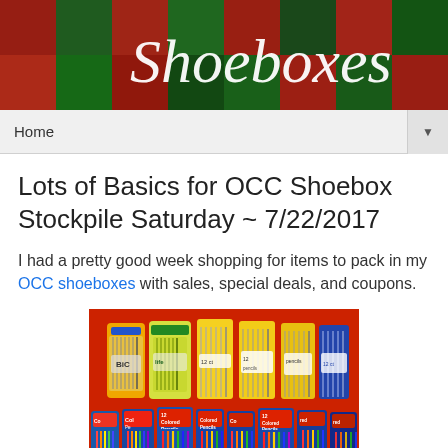[Figure (photo): Website header banner showing stacked shoeboxes with the word 'Shoeboxes' in white script text on a green background]
Home ▼
Lots of Basics for OCC Shoebox Stockpile Saturday ~ 7/22/2017
I had a pretty good week shopping for items to pack in my OCC shoeboxes with sales, special deals, and coupons.
[Figure (photo): Photo of school supplies on a red background including packs of regular pencils and multiple boxes of colored pencils (12 count Colored Pencils)]